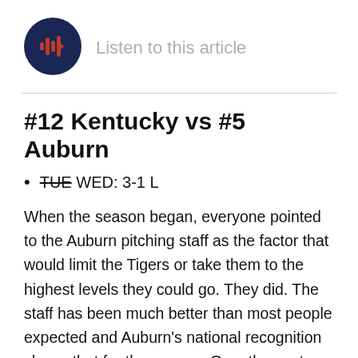[Figure (other): Audio player button: dark navy circular button with orange/red sound wave play icon]
Listen to this article
#12 Kentucky vs #5 Auburn
TUE WED: 3-1 L
When the season began, everyone pointed to the Auburn pitching staff as the factor that would limit the Tigers or take them to the highest levels they could go. They did. The staff has been much better than most people expected and Auburn's national recognition shows that for the season. Over the past week however, the pitching has been there for the most part against a team fighting for their season to continue in the Kentucky Wildcats. The offense though suddenly